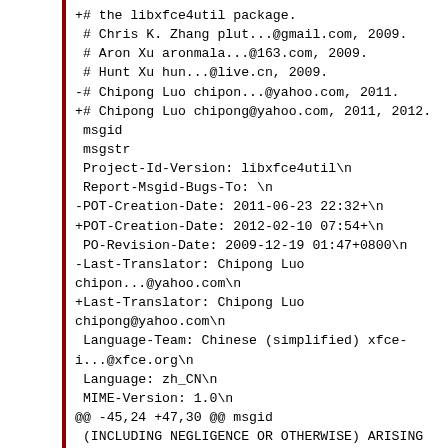+# the libxfce4util package.
 # Chris K. Zhang plut...@gmail.com, 2009.
 # Aron Xu aronmala...@163.com, 2009.
 # Hunt Xu hun...@live.cn, 2009.
 -# Chipong Luo chipon...@yahoo.com, 2011.
 +# Chipong Luo chipong@yahoo.com, 2011, 2012.
  msgid
  msgstr
  Project-Id-Version: libxfce4util\n
  Report-Msgid-Bugs-To: \n
 -POT-Creation-Date: 2011-06-23 22:32+\n
 +POT-Creation-Date: 2012-02-10 07:54+\n
  PO-Revision-Date: 2009-12-19 01:47+0800\n
 -Last-Translator: Chipong Luo chipon...@yahoo.com\n
 +Last-Translator: Chipong Luo chipong@yahoo.com\n
  Language-Team: Chinese (simplified) xfce-i...@xfce.org\n
  Language: zh_CN\n
  MIME-Version: 1.0\n
 @@ -45,24 +47,30 @@ msgid
  (INCLUDING NEGLIGENCE OR OTHERWISE) ARISING